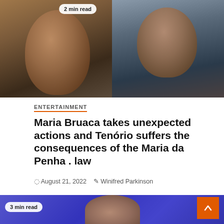[Figure (photo): Two side-by-side portrait photos: left shows a distressed woman with dark curly hair, right shows a man with a mustache. Badge reads '2 min read'.]
ENTERTAINMENT
Maria Bruaca takes unexpected actions and Tenório suffers the consequences of the Maria da Penha . law
August 21, 2022   Winifred Parkinson
[Figure (photo): Partial bottom photo showing a woman on a blue background. Badge reads '3 min read'.]